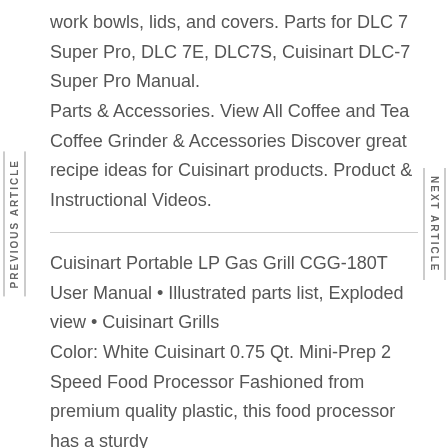work bowls, lids, and covers. Parts for DLC 7 Super Pro, DLC 7E, DLC7S, Cuisinart DLC-7 Super Pro Manual. Parts & Accessories. View All Coffee and Tea Coffee Grinder & Accessories Discover great recipe ideas for Cuisinart products. Product & Instructional Videos.
Cuisinart Portable LP Gas Grill CGG-180T User Manual • Illustrated parts list, Exploded view • Cuisinart Grills
Color: White Cuisinart 0.75 Qt. Mini-Prep 2 Speed Food Processor Fashioned from premium quality plastic, this food processor has a sturdy